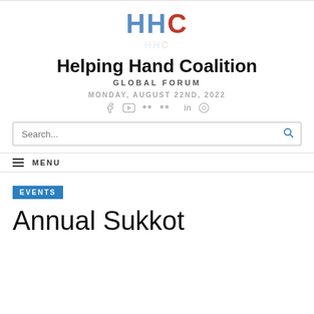[Figure (logo): HHC logo with blue H, blue H, red C letters and reflection effect]
Helping Hand Coalition
GLOBAL FORUM
MONDAY, AUGUST 22ND, 2022
[Figure (other): Social media icons: Facebook, YouTube, Flickr, more, LinkedIn, WordPress]
Search...
≡ MENU
EVENTS
Annual Sukkot